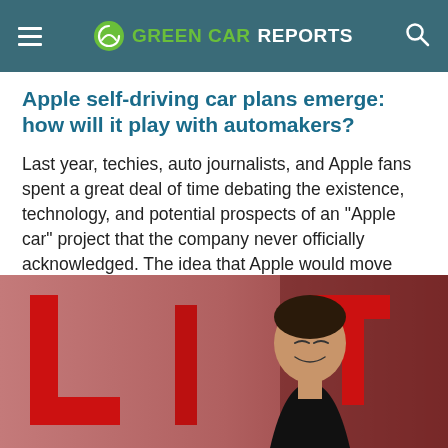GREEN CAR REPORTS
Apple self-driving car plans emerge: how will it play with automakers?
Last year, techies, auto journalists, and Apple fans spent a great deal of time debating the existence, technology, and potential prospects of an "Apple car" project that the company never officially acknowledged. The idea that Apple would move from fast-turn, high-volume, very profitable consumer...
John Voelcker   April 26, 2017
[Figure (photo): Photo of a man (Elon Musk) smiling in front of large red LIT letters at what appears to be a conference or event. The background is reddish/mauve colored with large red 3D letters visible.]